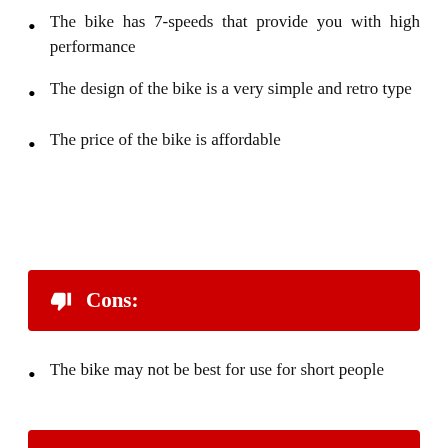The bike has 7-speeds that provide you with high performance
The design of the bike is a very simple and retro type
The price of the bike is affordable
Cons:
The bike may not be best for use for short people